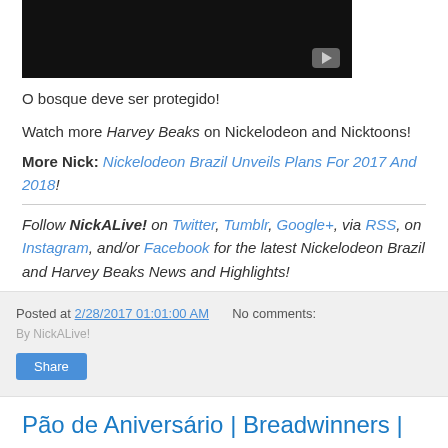[Figure (screenshot): Dark video thumbnail with play button in bottom right corner]
O bosque deve ser protegido!
Watch more Harvey Beaks on Nickelodeon and Nicktoons!
More Nick: Nickelodeon Brazil Unveils Plans For 2017 And 2018!
Follow NickALive! on Twitter, Tumblr, Google+, via RSS, on Instagram, and/or Facebook for the latest Nickelodeon Brazil and Harvey Beaks News and Highlights!
Posted at 2/28/2017 01:01:00 AM   No comments:
Share
Pão de Aniversário | Breadwinners | Nickelodeon Brasil